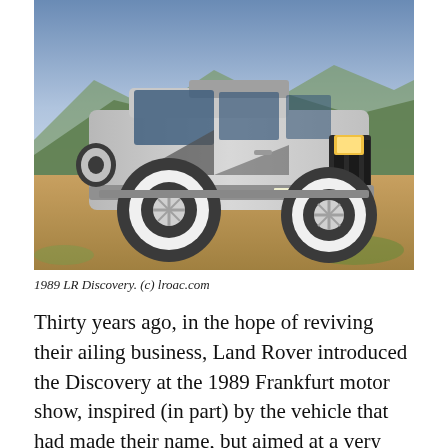[Figure (photo): A silver Land Rover Discovery photographed outdoors on grassy terrain with mountains and blue sky in the background. The vehicle has distinctive graphic decals on the side and white steel wheels. License plate reads G475 XVC.]
1989 LR Discovery. (c) lroac.com
Thirty years ago, in the hope of reviving their ailing business, Land Rover introduced the Discovery at the 1989 Frankfurt motor show, inspired (in part) by the vehicle that had made their name, but aimed at a very different customer. Three decades later, facing an even more precipitous climb, they appear to be doing